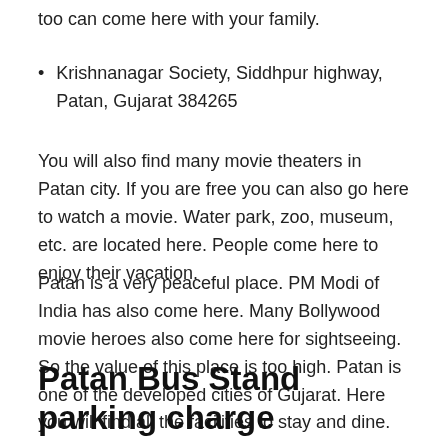too can come here with your family.
Krishnanagar Society, Siddhpur highway, Patan, Gujarat 384265
You will also find many movie theaters in Patan city. If you are free you can also go here to watch a movie. Water park, zoo, museum, etc. are located here. People come here to enjoy their vacation.
Patan is a very peaceful place. PM Modi of India has also come here. Many Bollywood movie heroes also come here for sightseeing. So the value of this place is too high. Patan is one of the developed cities of Gujarat. Here you will find all the facilities to stay and dine.
Patan Bus Stand parking charge